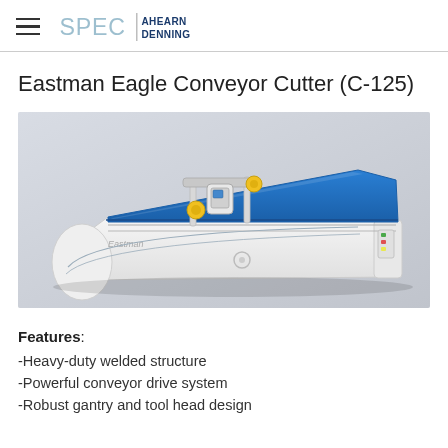SPEC | AHEARN DENNING
Eastman Eagle Conveyor Cutter (C-125)
[Figure (photo): Eastman Eagle Conveyor Cutter C-125 machine — a large white industrial fabric cutting machine with a blue conveyor belt surface, yellow accent pieces, and a cutting head gantry. The machine is photographed at an angle showing its streamlined white body with curved edges.]
Features:
-Heavy-duty welded structure
-Powerful conveyor drive system
-Robust gantry and tool head design